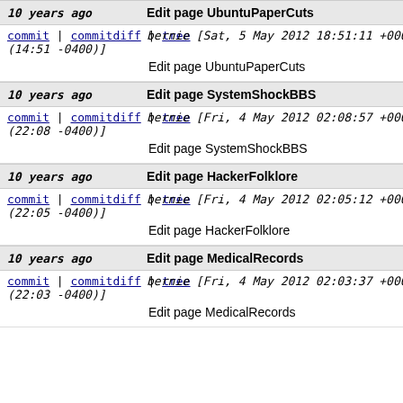10 years ago | Edit page UbuntuPaperCuts
commit | commitdiff | tree bernie [Sat, 5 May 2012 18:51:11 +0000 (14:51 -0400)]
Edit page UbuntuPaperCuts
10 years ago | Edit page SystemShockBBS
commit | commitdiff | tree bernie [Fri, 4 May 2012 02:08:57 +0000 (22:08 -0400)]
Edit page SystemShockBBS
10 years ago | Edit page HackerFolklore
commit | commitdiff | tree bernie [Fri, 4 May 2012 02:05:12 +0000 (22:05 -0400)]
Edit page HackerFolklore
10 years ago | Edit page MedicalRecords
commit | commitdiff | tree bernie [Fri, 4 May 2012 02:03:37 +0000 (22:03 -0400)]
Edit page MedicalRecords